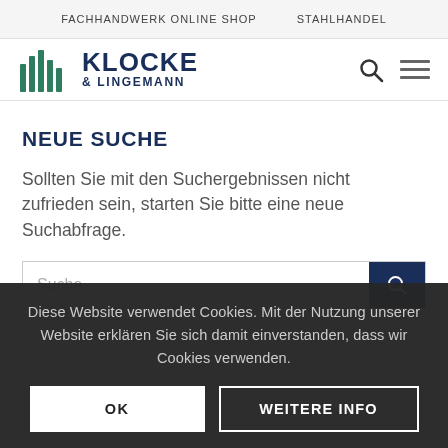FACHHANDWERK ONLINE SHOP   STAHLHANDEL
[Figure (logo): Klocke & Lingemann logo with green vertical bars icon and dark blue text]
NEUE SUCHE
Sollten Sie mit den Suchergebnissen nicht zufrieden sein, starten Sie bitte eine neue Suchabfrage.
Suche
Diese Website verwendet Cookies. Mit der Nutzung unserer Website erklären Sie sich damit einverstanden, dass wir Cookies verwenden.
OK   WEITERE INFO